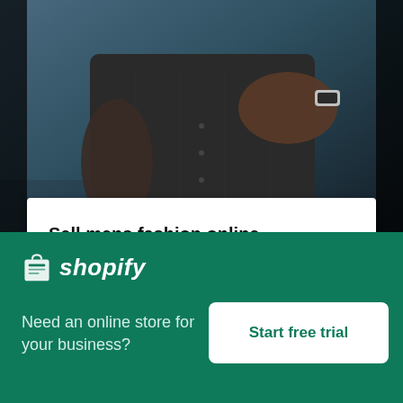[Figure (photo): Close-up photo of a man in a dark grey shirt wearing a watch, placing his hand on his chest. Background is blurred indoor setting with blue tones.]
Sell mens fashion online →
[Figure (screenshot): Partial view of a pink-background content section partially hidden behind a Shopify popup overlay.]
[Figure (infographic): Shopify promotional popup with logo, tagline 'Need an online store for your business?' and a 'Start free trial' button on a dark green background.]
Need an online store for your business?
Start free trial